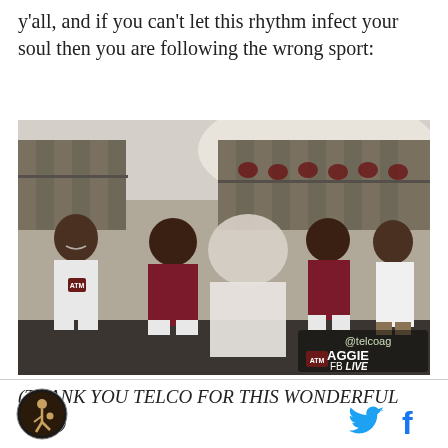y'all, and if you can't let this rhythm infect your soul then you are following the wrong sport:
[Figure (photo): Texas A&M football players dancing and celebrating in a locker room, wearing maroon and white uniforms, with @telcoag ATM AGGIE FB LIVE watermark in bottom right]
(THANK YOU TELCO FOR THIS WONDERFUL GIFT)
[Figure (logo): Circular sports logo on the left, Twitter bird icon and Facebook 'f' icon on the right in the footer bar]